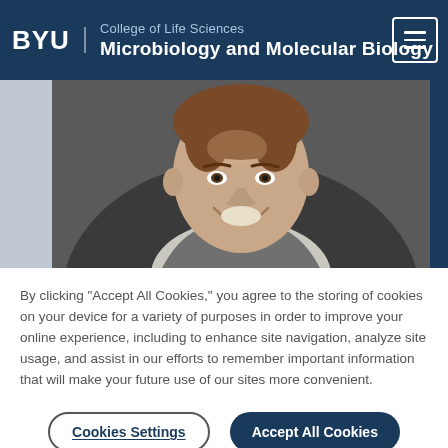BYU | College of Life Sciences — Microbiology and Molecular Biology
[Figure (photo): Headshot photo of a young man in a suit, smiling, against a dark background, with blue sidebar accents on left and right]
By clicking “Accept All Cookies,” you agree to the storing of cookies on your device for a variety of purposes in order to improve your online experience, including to enhance site navigation, analyze site usage, and assist in our efforts to remember important information that will make your future use of our sites more convenient.
Cookies Settings | Accept All Cookies